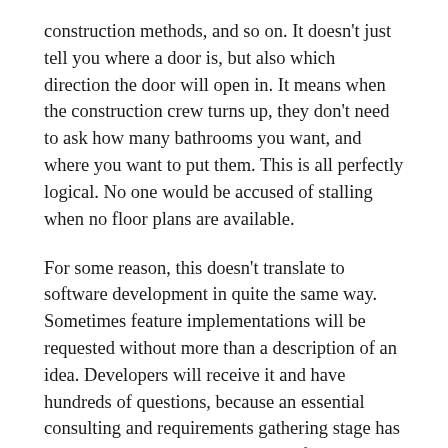construction methods, and so on. It doesn't just tell you where a door is, but also which direction the door will open in. It means when the construction crew turns up, they don't need to ask how many bathrooms you want, and where you want to put them. This is all perfectly logical. No one would be accused of stalling when no floor plans are available.
For some reason, this doesn't translate to software development in quite the same way. Sometimes feature implementations will be requested without more than a description of an idea. Developers will receive it and have hundreds of questions, because an essential consulting and requirements gathering stage has been skipped, and there is no spec for them to implement.
Why does this happen? Mainly because like all analogies, it will break when stretched. Developing software is often not like building a house. Moving a wall is costly – it is easy to